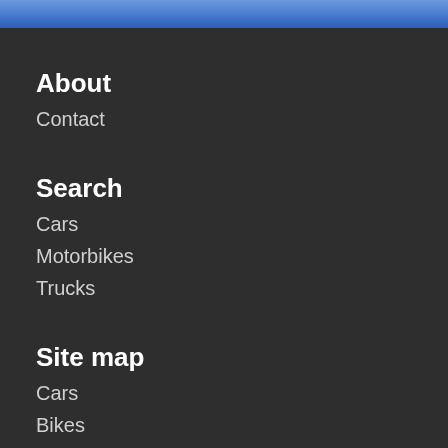About
Contact
Search
Cars
Motorbikes
Trucks
Site map
Cars
Bikes
Trucks